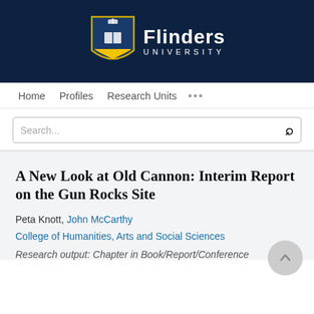[Figure (logo): Flinders University logo with shield crest and white text on dark navy background]
Home   Profiles   Research Units   ...
Search...
A New Look at Old Cannon: Interim Report on the Gun Rocks Site
Peta Knott, John McCarthy
College of Humanities, Arts and Social Sciences
Research output: Chapter in Book/Report/Conference